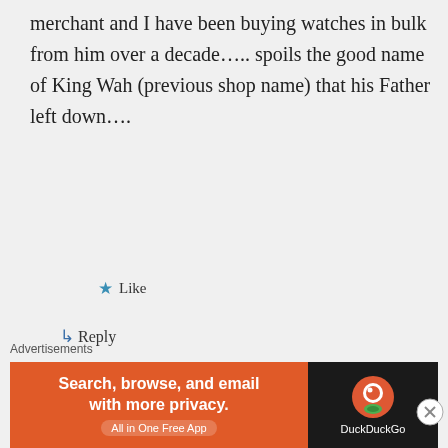merchant and I have been buying watches in bulk from him over a decade….. spoils the good name of King Wah (previous shop name) that his Father left down….
★ Like
↳ Reply
sgfreestyler on March 30, 2015 at 4:11 PM
Advertisements
[Figure (screenshot): DuckDuckGo advertisement banner: orange background with text 'Search, browse, and email with more privacy. All in One Free App' and DuckDuckGo logo on dark background]